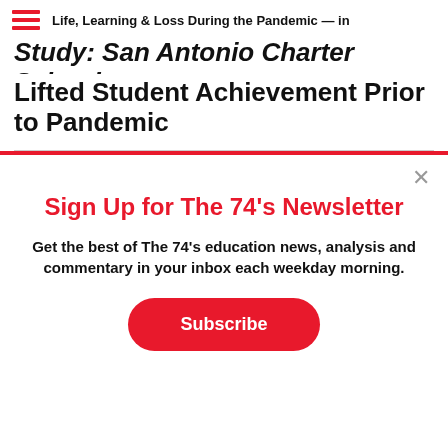Life, Learning & Loss During the Pandemic — in
Study: San Antonio Charter Schools Lifted Student Achievement Prior to Pandemic
Sign Up for The 74's Newsletter
Get the best of The 74's education news, analysis and commentary in your inbox each weekday morning.
Subscribe